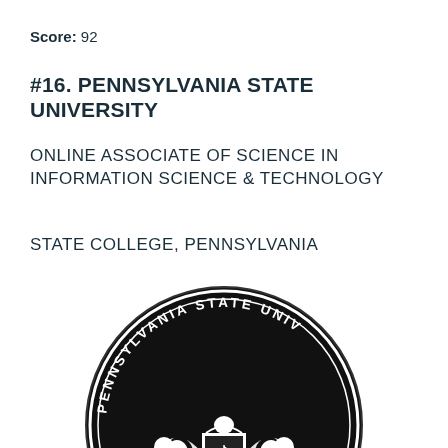Score: 92
#16. PENNSYLVANIA STATE UNIVERSITY
ONLINE ASSOCIATE OF SCIENCE IN INFORMATION SCIENCE & TECHNOLOGY
STATE COLLEGE, PENNSYLVANIA
[Figure (logo): Pennsylvania State University circular seal in black and white, showing the university crest with lions and shield, partially cropped at bottom]